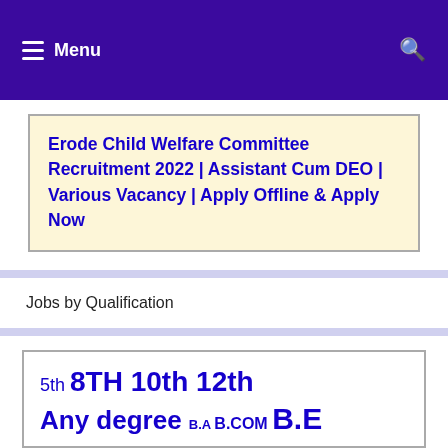Menu
Erode Child Welfare Committee Recruitment 2022 | Assistant Cum DEO | Various Vacancy | Apply Offline & Apply Now
Jobs by Qualification
5th 8TH 10th 12th Any degree B.A B.COM B.E